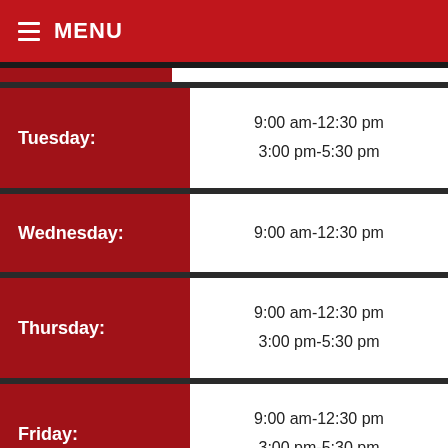≡ MENU
| Day | Hours |
| --- | --- |
| Tuesday: | 9:00 am-12:30 pm
3:00 pm-5:30 pm |
| Wednesday: | 9:00 am-12:30 pm |
| Thursday: | 9:00 am-12:30 pm
3:00 pm-5:30 pm |
| Friday: | 9:00 am-12:30 pm
3:00 pm-5:30 pm |
| Saturday: | 9:00 am-1:00 pm |
| Sunday: | Closed |